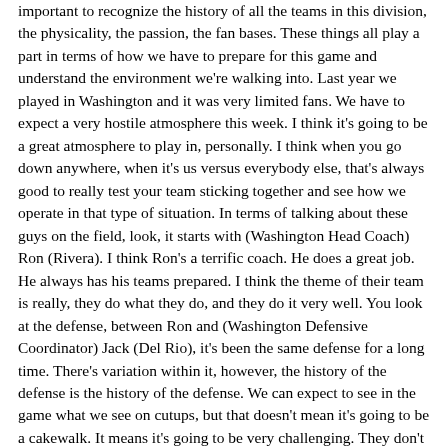important to recognize the history of all the teams in this division, the physicality, the passion, the fan bases. These things all play a part in terms of how we have to prepare for this game and understand the environment we're walking into. Last year we played in Washington and it was very limited fans. We have to expect a very hostile atmosphere this week. I think it's going to be a great atmosphere to play in, personally. I think when you go down anywhere, when it's us versus everybody else, that's always good to really test your team sticking together and see how we operate in that type of situation. In terms of talking about these guys on the field, look, it starts with (Washington Head Coach) Ron (Rivera). I think Ron's a terrific coach. He does a great job. He always has his teams prepared. I think the theme of their team is really, they do what they do, and they do it very well. You look at the defense, between Ron and (Washington Defensive Coordinator) Jack (Del Rio), it's been the same defense for a long time. There's variation within it, however, the history of the defense is the history of the defense. We can expect to see in the game what we see on cutups, but that doesn't mean it's going to be a cakewalk. It means it's going to be very challenging. They don't have to do a lot because what they do is very sound. They have very talented, very good players, starting with their defensive front. Obviously, those edge players are second to none. All right, the interior tackles – (Washington Defensive Tackle Daron) Payne, (Washington Defensive Tackle Jonathan) Allen, and (Washington Defensive Tackle Matt) Ioannidis, who is also